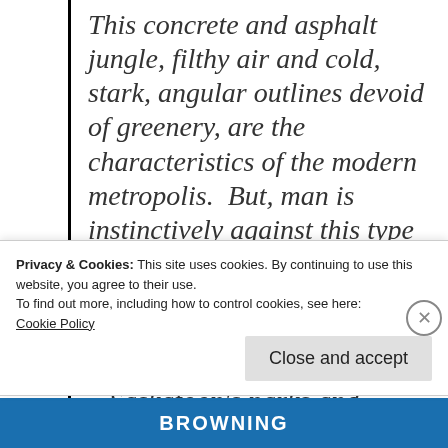This concrete and asphalt jungle, filthy air and cold, stark, angular outlines devoid of greenery, are the characteristics of the modern metropolis.  But, man is instinctively against this type of life and often retreats to the country to enjoy fresh, clean air and green landscape as far as the eyes can see.  ...Saskatoon's parks and recreation board has preserved the areas of Beaver Creek and Cranberry
Privacy & Cookies: This site uses cookies. By continuing to use this website, you agree to their use.
To find out more, including how to control cookies, see here:
Cookie Policy
Close and accept